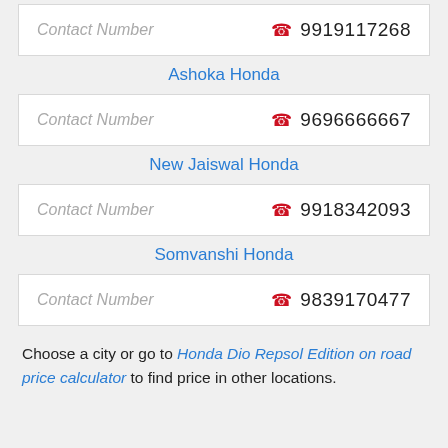Contact Number  9919117268
Ashoka Honda
Contact Number  9696666667
New Jaiswal Honda
Contact Number  9918342093
Somvanshi Honda
Contact Number  9839170477
Choose a city or go to Honda Dio Repsol Edition on road price calculator to find price in other locations.